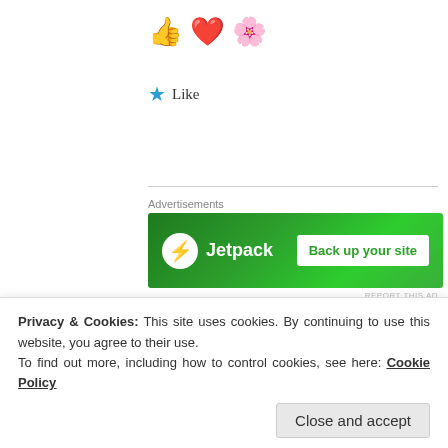[Figure (illustration): Three emoji icons: thumbs up (yellow), heart (red), and flower (pink/yellow)]
Like
[Figure (screenshot): Jetpack advertisement banner with green background. Shows Jetpack logo with lightning bolt icon and text 'Back up your site' button.]
Advertisements
REPORT THIS AD
[Figure (photo): Circular avatar photo of a woman with brown hair]
HUGUETTA
17 Apr 2019 at 11:49 am
Privacy & Cookies: This site uses cookies. By continuing to use this website, you agree to their use.
To find out more, including how to control cookies, see here: Cookie Policy
Close and accept
only is a full time job, then reading all what the